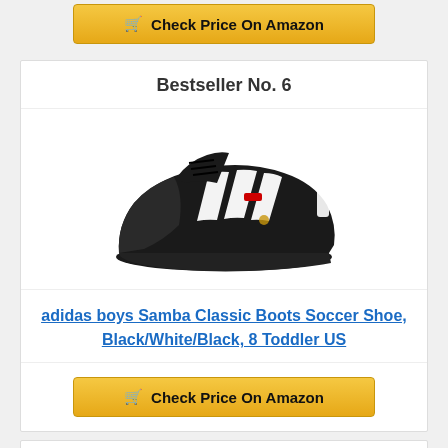[Figure (other): Yellow/gold Amazon 'Check Price On Amazon' button with cart icon, partially visible at top of page]
Bestseller No. 6
[Figure (photo): Adidas boys Samba Classic soccer shoe in black with white stripes, shown at an angle against white background]
adidas boys Samba Classic Boots Soccer Shoe, Black/White/Black, 8 Toddler US
[Figure (other): Yellow/gold 'Check Price On Amazon' button with shopping cart icon]
Bestseller No. 7
[Figure (photo): White/light colored shoes partially visible at the bottom of the page]